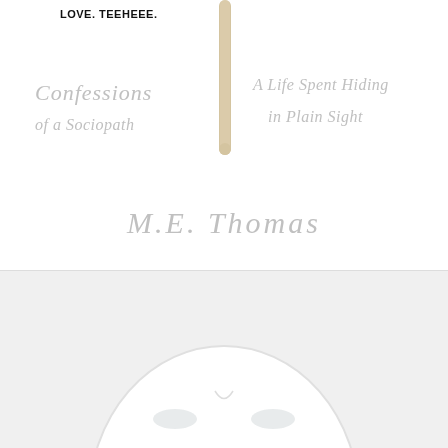LOVE. TEEHEEE.
[Figure (illustration): A wooden craft stick (popsicle stick) standing vertically in the upper center of the page]
CONFESSIONS OF A SOCIOPATH
A LIFE SPENT HIDING IN PLAIN SIGHT
M.E. THOMAS
[Figure (illustration): Bottom half: face of a featureless white mannequin or mask, showing eyes and top of head with smooth white surface, on a light gray background]